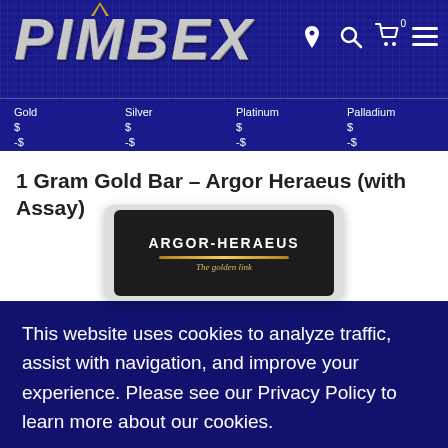[Figure (logo): PIMBEX logo with metallic silver text and gold triangle, on dark blue background with navigation icons]
Gold
$
-$
Silver
$
-$
Platinum
$
-$
Palladium
$
-$
1 Gram Gold Bar – Argor Heraeus (with Assay)
[Figure (photo): Argor-Heraeus gold bar in assay card packaging. Black card with ARGOR-HERAEUS branding, gold bar visible, tagline 'The golden link']
This website uses cookies to analyze traffic, assist with navigation, and improve your experience. Please see our Privacy Policy to learn more about our cookies.
Acknowledge